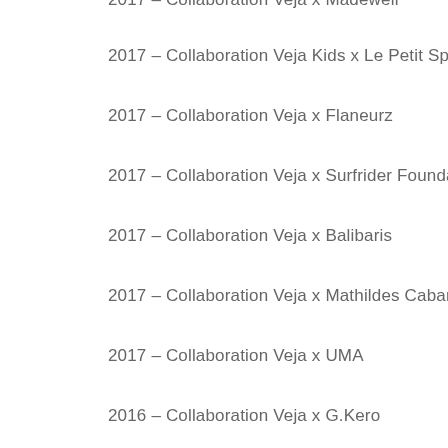2017 – Collaboration Veja x Madewell
2017 – Collaboration Veja Kids x Le Petit Spir
2017 – Collaboration Veja x Flaneurz
2017 – Collaboration Veja x Surfrider Founda
2017 – Collaboration Veja x Balibaris
2017 – Collaboration Veja x Mathildes Caban
2017 – Collaboration Veja x UMA
2016 – Collaboration Veja x G.Kero